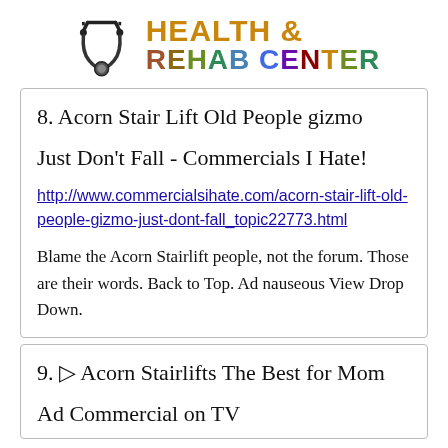[Figure (logo): Health & Rehab Center logo with stethoscope icon and colorful text]
8. Acorn Stair Lift Old People gizmo Just Don't Fall - Commercials I Hate!
http://www.commercialsihate.com/acorn-stair-lift-old-people-gizmo-just-dont-fall_topic22773.html
Blame the Acorn Stairlift people, not the forum. Those are their words. Back to Top. Ad nauseous View Drop Down.
9. ▷ Acorn Stairlifts The Best for Mom Ad Commercial on TV